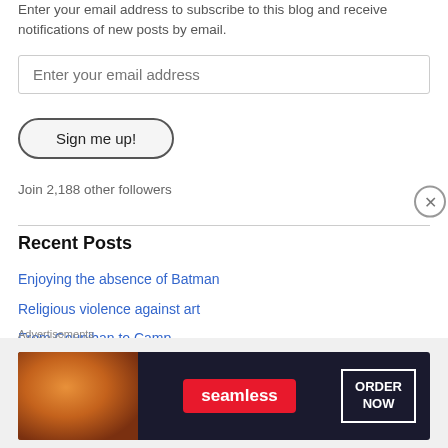Enter your email address to subscribe to this blog and receive notifications of new posts by email.
Enter your email address
Sign me up!
Join 2,188 other followers
Recent Posts
Enjoying the absence of Batman
Religious violence against art
From Counihan to Camp
Light and public art
Sime Thornton
[Figure (infographic): Seamless food delivery advertisement banner with pizza image, Seamless logo in red, and ORDER NOW button in white border box on dark background]
Advertisements